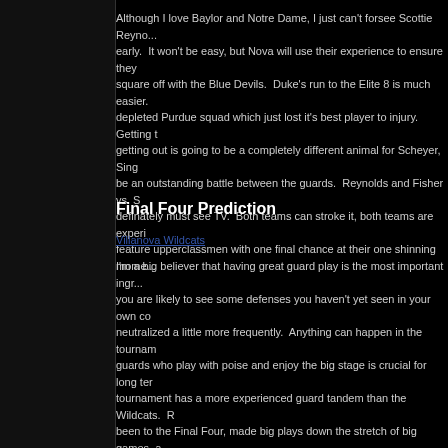Although I love Baylor and Notre Dame, I just can't forsee Scottie Reyno... early.  It won't be easy, but Nova will use their experience to ensure they square off with the Blue Devils.  Duke's run to the Elite 8 is much easier. depleted Purdue squad which just lost it's best player to injury.  Getting t getting out is going to be a completely different animal for Scheyer, Sing be an outstanding battle between the guards.  Reynolds and Fisher vs. S definately must see TV.  Both teams can stroke it, both teams are experi feature upperclassmen with one final chance at their one shinning mome...
Final Four Prediction
Villanova Wildcats
I'm a big believer that having great guard play is the most important ingr... you are likely to see some defenses you haven't yet seen in your own co neutralized a little more frequently.  Anything can happen in the tournam guards who play with poise and enjoy the big stage is crucial for long ter tournament has a more experienced guard tandem than the Wildcats.  R been to the Final Four, made big plays down the stretch of big games, a play with everything on the line.